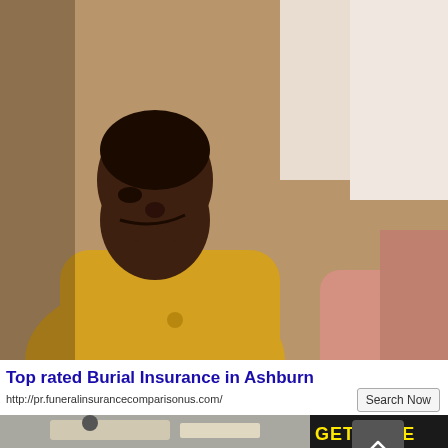[Figure (photo): Two elderly Black adults, a woman in yellow shirt looking concerned at a man in a pink shirt with hands clasped together in a worried pose, sitting together indoors.]
Top rated Burial Insurance in Ashburn
http://pr.funeralinsurancecomparisonus.com/
[Figure (photo): Partial bottom image showing outdoor scene with yellow text starting 'GET ACCESS TO']